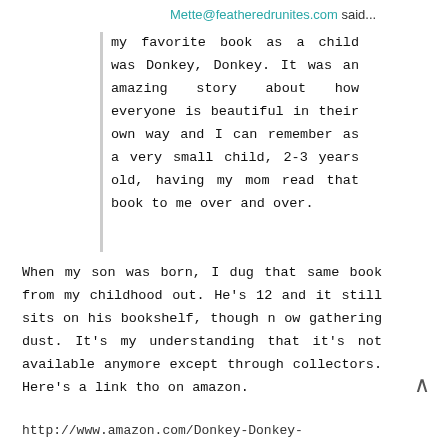Mette@featheredrunites.com said...
my favorite book as a child was Donkey, Donkey. It was an amazing story about how everyone is beautiful in their own way and I can remember as a very small child, 2-3 years old, having my mom read that book to me over and over.
When my son was born, I dug that same book from my childhood out. He's 12 and it still sits on his bookshelf, though n ow gathering dust. It's my understanding that it's not available anymore except through collectors. Here's a link tho on amazon.
http://www.amazon.com/Donkey-Donkey-